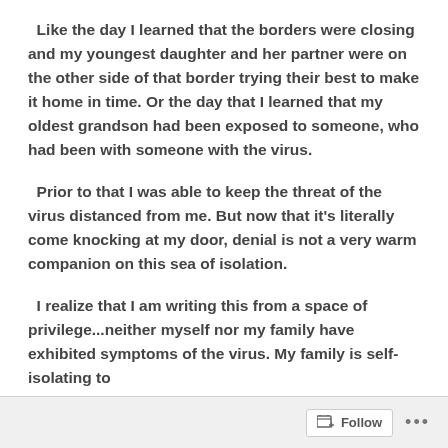Like the day I learned that the borders were closing and my youngest daughter and her partner were on the other side of that border trying their best to make it home in time. Or the day that I learned that my oldest grandson had been exposed to someone, who had been with someone with the virus.
Prior to that I was able to keep the threat of the virus distanced from me. But now that it's literally come knocking at my door, denial is not a very warm companion on this sea of isolation.
I realize that I am writing this from a space of privilege...neither myself nor my family have exhibited symptoms of the virus. My family is self-isolating to
Follow ...